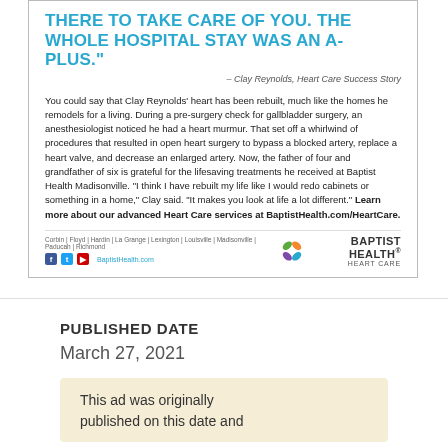THERE TO TAKE CARE OF YOU. THE WHOLE HOSPITAL STAY WAS AN A-PLUS."
— Clay Reynolds, Heart Care Success Story
You could say that Clay Reynolds' heart has been rebuilt, much like the homes he remodels for a living. During a pre-surgery check for gallbladder surgery, an anesthesiologist noticed he had a heart murmur. That set off a whirlwind of procedures that resulted in open heart surgery to bypass a blocked artery, replace a heart valve, and decrease an enlarged artery. Now, the father of four and grandfather of six is grateful for the lifesaving treatments he received at Baptist Health Madisonville. "I think I have rebuilt my life like I would redo cabinets or something in a home," Clay said. "It makes you look at life a lot different." Learn more about our advanced Heart Care services at BaptistHealth.com/HeartCare.
[Figure (logo): Baptist Health Heart Care logo with colorful leaf/flower icon]
PUBLISHED DATE
March 27, 2021
This ad was originally published on this date and